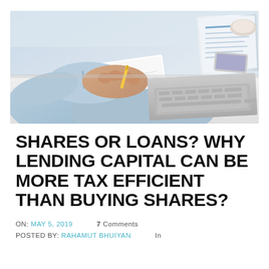[Figure (photo): Person in light blue shirt writing in notebook with laptop open beside them on a white desk, viewed from above/side angle]
SHARES OR LOANS? WHY LENDING CAPITAL CAN BE MORE TAX EFFICIENT THAN BUYING SHARES?
ON: MAY 5, 2019    7 COMMENTS
POSTED BY: RAHAMUT BHUIYAN    IN